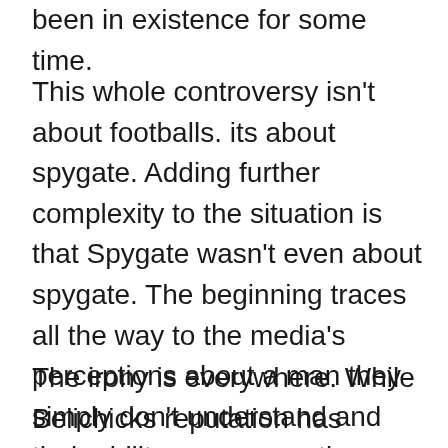been in existence for some time.
This whole controversy isn't about footballs. its about spygate. Adding further complexity to the situation is that Spygate wasn't even about spygate. The beginning traces all the way to the media's perceptions about a man they simply don't understand and their ability…no, correction, their J.O.B. to frame the stories for the public.
The irony is everywhere. While Belichicks reputation has become someone who likes to push the envelope in